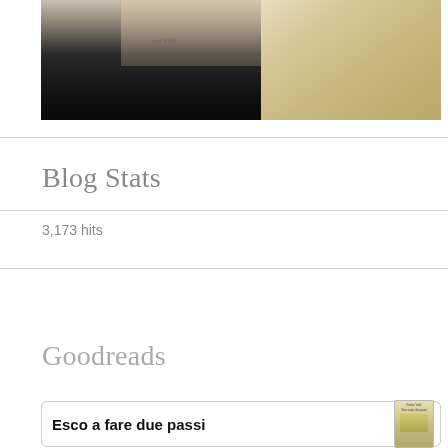[Figure (photo): Cropped photo of a woman with blonde hair wearing a black strapless top, with a small tattoo visible on her neck/collarbone area]
Blog Stats
3,173 hits
Goodreads
Esco a fare due passi